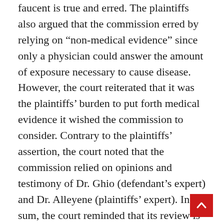faucent is true and erred. The plaintiffs also argued that the commission erred by relying on “non-medical evidence” since only a physician could answer the amount of exposure necessary to cause disease. However, the court reiterated that it was the plaintiffs’ burden to put forth medical evidence it wished the commission to consider. Contrary to the plaintiffs’ assertion, the court noted that the commission relied on opinions and testimony of Dr. Ghio (defendant’s expert) and Dr. Alleyene (plaintiffs’ expert). In sum, the court reminded that its review is limited to “whether findings are supported by competent evidence” and that in this matter the commission’s findings were supported by competent evidence. Therefore, the commission’s